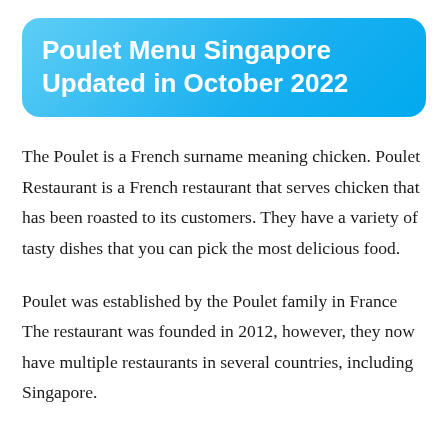Poulet Menu Singapore Updated in October 2022
The Poulet is a French surname meaning chicken. Poulet Restaurant is a French restaurant that serves chicken that has been roasted to its customers. They have a variety of tasty dishes that you can pick the most delicious food.
Poulet was established by the Poulet family in France The restaurant was founded in 2012, however, they now have multiple restaurants in several countries, including Singapore.